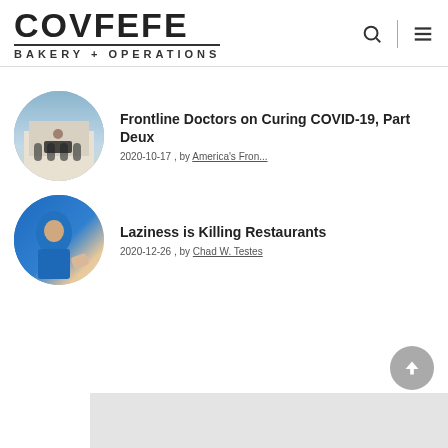COVFEFE BAKERY + OPERATIONS
Frontline Doctors on Curing COVID-19, Part Deux
2020-10-17 , by America's Fron...
Laziness is Killing Restaurants
2020-12-26 , by Chad W. Testes
[Figure (photo): Circular thumbnail showing group of people in white coats in front of a building]
[Figure (photo): Circular thumbnail showing person in blue polo shirt]
[Figure (other): Gray advertisement block at bottom of page]